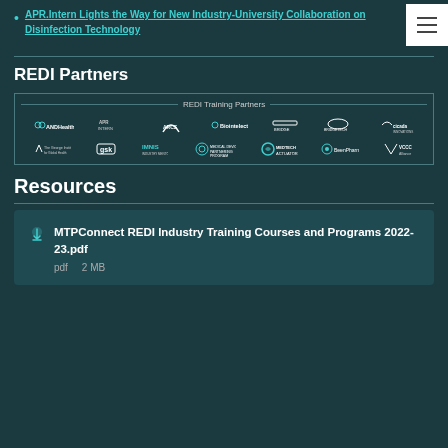APR.Intern Lights the Way for New Industry-University Collaboration on Disinfection Technology
REDI Partners
[Figure (logo): REDI Training Partners logos: ANDHealth, APR Intern, ARCS, Biointelect, Bridge Program, BridgeTech Program, Cicada Innovations, The George Institute, GSK, IMNIS, Medical Device Partnering Program, MedTech Actuator, BeenPharma, VCCC Alliance]
Resources
MTPConnect REDI Industry Training Courses and Programs 2022-23.pdf
pdf    2 MB